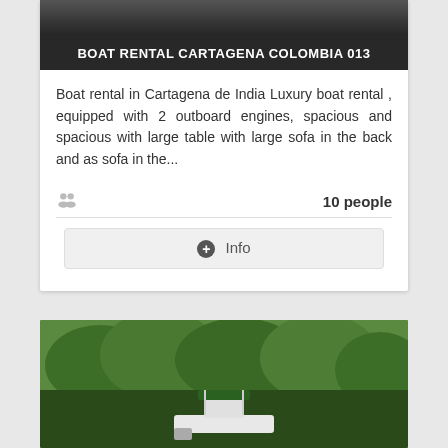[Figure (photo): Top portion of a boat rental listing card showing a dark image of a boat and a dark title bar]
BOAT RENTAL CARTAGENA COLOMBIA 013
Boat rental in Cartagena de India Luxury boat rental , equipped with 2 outboard engines, spacious and spacious with large table with large sofa in the back and as sofa in the...
10 people
+ Info
[Figure (photo): Bottom image showing a boat in the foreground with dense green trees in the background]